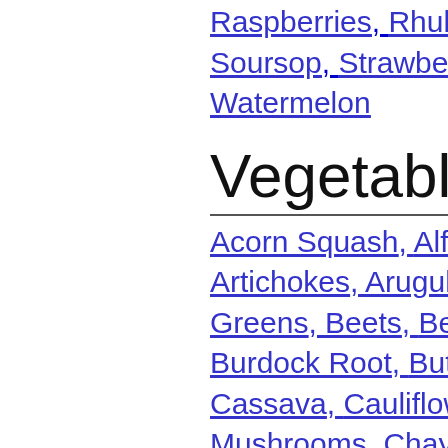Raspberries, Rhubarb, Rose-Apple, Soursop, Strawberries, Sugar-Apple, Watermelon
Vegetables
Acorn Squash, Alfalfa Seeds, A..., Artichokes, Arugula, Asparagus..., Greens, Beets, Bell Peppers, B..., Burdock Root, Butterbur, Butter..., Cassava, Cauliflower, Celeriac,..., Mushrooms, Chayote, Chicory,..., Chrysanthemum, Chrysanthem..., Cornsalad, Cowpeas, Cucumbe..., Leaves, Drumstick Pods, Eggpl..., Eppaw, Fava Beans, Fennel, Fi..., Cress, Garlic, Ginger Root, Gou..., Hubbard Squash, Jalapeno Pep..., Jicama, Jute, Kale, Kohlrabi, Le..., Lotus Root, Maitake Mushroom..., Mung Beans, Mushrooms, Mus...